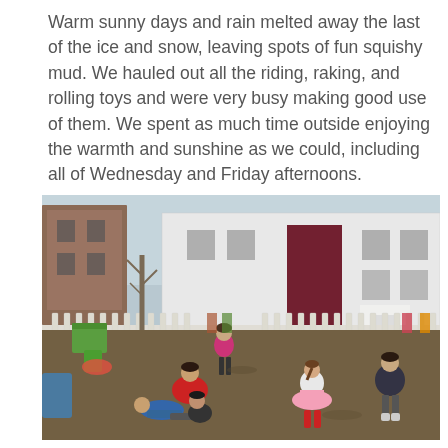Warm sunny days and rain melted away the last of the ice and snow, leaving spots of fun squishy mud. We hauled out all the riding, raking, and rolling toys and were very busy making good use of them. We spent as much time outside enjoying the warmth and sunshine as we could, including all of Wednesday and Friday afternoons.
[Figure (photo): Children playing outdoors in a schoolyard on a sunny day. Several kids are on muddy ground; some are sitting/lying down, one girl in a pink tutu and red boots is walking, and another child in dark clothing stands to the right. A white picket fence and white school building are visible in the background, along with bare trees and a brick building.]